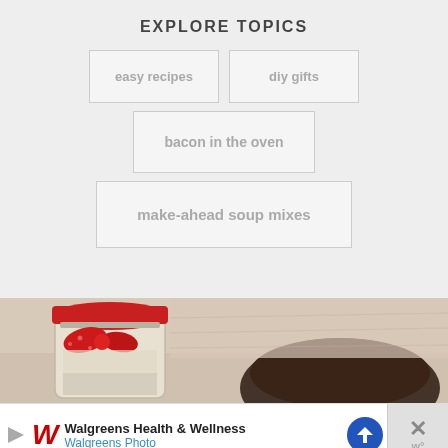EXPLORE TOPICS
easy recipes
diy gifts
bacon in the oven
make-ahead soup mixes
[Figure (photo): Mason jar with red ribbon bow gift, beside a dark coffee cup on a wooden surface.]
Walgreens Health & Wellness
Walgreens Photo